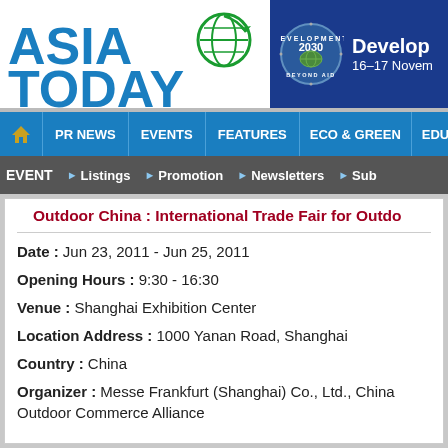[Figure (logo): Asia Today logo with globe icon]
[Figure (infographic): Development 2030 Beyond Aid banner, 16-17 November]
PR NEWS  EVENTS  FEATURES  ECO & GREEN  EDU
EVENT  Listings  Promotion  Newsletters  Sub
Outdoor China : International Trade Fair for Outdo
Date : Jun 23, 2011 - Jun 25, 2011
Opening Hours : 9:30 - 16:30
Venue : Shanghai Exhibition Center
Location Address : 1000 Yanan Road, Shanghai
Country : China
Organizer : Messe Frankfurt (Shanghai) Co., Ltd., China Outdoor Commerce Alliance